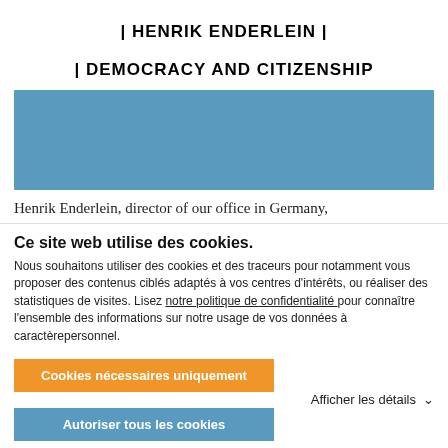| HENRIK ENDERLEIN |
| DEMOCRACY AND CITIZENSHIP
[Figure (photo): A blue rectangular image placeholder representing a photo related to Henrik Enderlein.]
Henrik Enderlein, director of our office in Germany,
Ce site web utilise des cookies.
Nous souhaitons utiliser des cookies et des traceurs pour notamment vous proposer des contenus ciblés adaptés à vos centres d'intérêts, ou réaliser des statistiques de visites. Lisez notre politique de confidentialité pour connaître l'ensemble des informations sur notre usage de vos données à caractèrepersonnel.
Cookies nécessaires uniquement
Autoriser tous les cookies
Afficher les détails